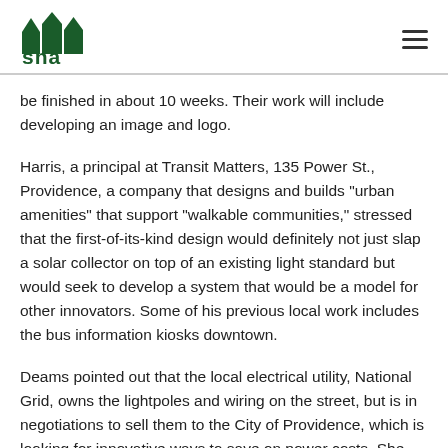sna
be finished in about 10 weeks. Their work will include developing an image and logo.
Harris, a principal at Transit Matters, 135 Power St., Providence, a company that designs and builds "urban amenities" that support "walkable communities," stressed that the first-of-its-kind design would definitely not just slap a solar collector on top of an existing light standard but would seek to develop a system that would be a model for other innovators. Some of his previous local work includes the bus information kiosks downtown.
Deams pointed out that the local electrical utility, National Grid, owns the lightpoles and wiring on the street, but is in negotiations to sell them to the City of Providence, which is looking for innovative ways to save on power costs. She